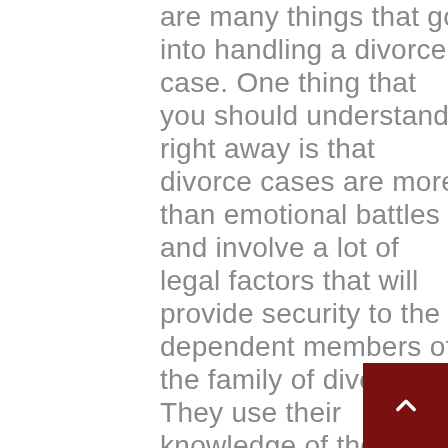are many things that go into handling a divorce case. One thing that you should understand right away is that divorce cases are more than emotional battles and involve a lot of legal factors that will provide security to the dependent members of the family of divorcees. They use their knowledge of the law and the information provided by you to handle the